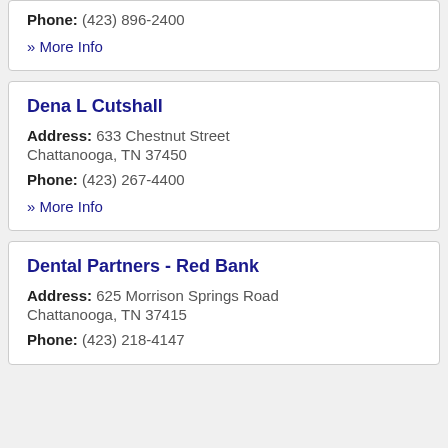Phone: (423) 896-2400
» More Info
Dena L Cutshall
Address: 633 Chestnut Street Chattanooga, TN 37450
Phone: (423) 267-4400
» More Info
Dental Partners - Red Bank
Address: 625 Morrison Springs Road Chattanooga, TN 37415
Phone: (423) 218-4147